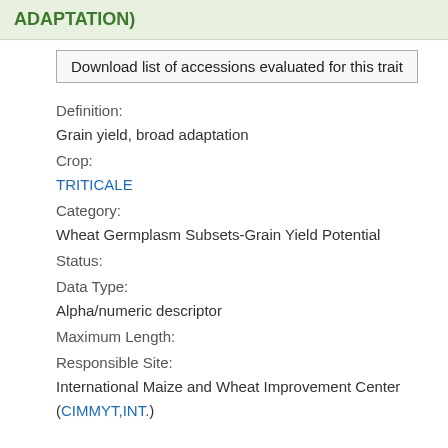ADAPTATION)
Download list of accessions evaluated for this trait
Definition:
Grain yield, broad adaptation
Crop:
TRITICALE
Category:
Wheat Germplasm Subsets-Grain Yield Potential
Status:
Data Type:
Alpha/numeric descriptor
Maximum Length:
Responsible Site:
International Maize and Wheat Improvement Center (CIMMYT,INT.)